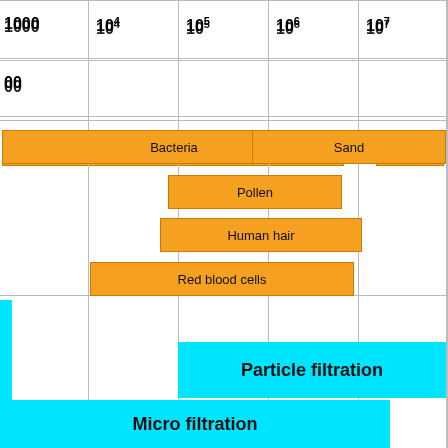[Figure (infographic): Particle size scale chart showing size ranges for Bacteria, Yeast, Sand, Pollen, Human hair, Red blood cells, and filtration types (Particle filtration, Micro filtration) across a logarithmic scale from 1000 to 10^7.]